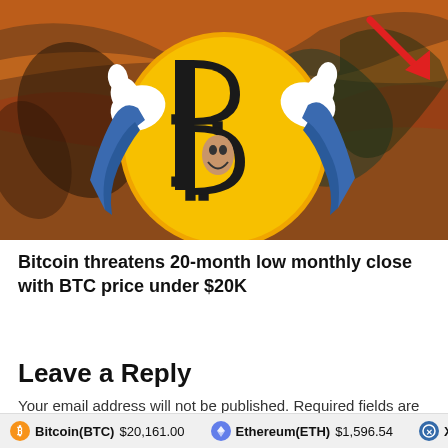[Figure (illustration): A cartoon illustration of the Bitcoin logo (large yellow B symbol) with cartoon white-gloved hands raised in a panicked or shocked gesture, set against a swirling painted background reminiscent of 'The Scream' by Edvard Munch, with a red downward arrow in the top right corner indicating a price drop.]
Bitcoin threatens 20-month low monthly close with BTC price under $20K
Leave a Reply
Your email address will not be published. Required fields are marked *
Bitcoin(BTC) $20,161.00   Ethereum(ETH) $1,596.54   XRP(XR...